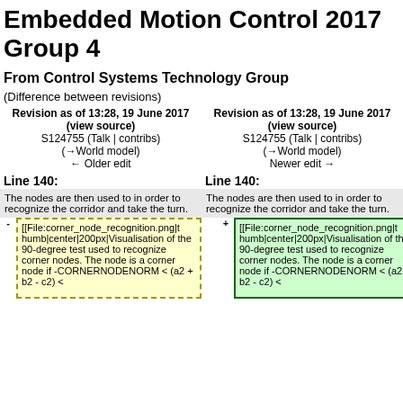Embedded Motion Control 2017 Group 4
From Control Systems Technology Group
(Difference between revisions)
| Revision as of 13:28, 19 June 2017 (view source)
S124755 (Talk | contribs)
(→World model)
← Older edit | Revision as of 13:28, 19 June 2017 (view source)
S124755 (Talk | contribs)
(→World model)
Newer edit → |
| Line 140: | Line 140: |
| --- | --- |
| The nodes are then used to in order to recognize the corridor and take the turn. | The nodes are then used to in order to recognize the corridor and take the turn. |
| - [[File:corner_node_recognition.png|thumb|center|200px|Visualisation of the 90-degree test used to recognize corner nodes. The node is a corner node if -CORNERNODENORM < (a2 + b2 - c2) < | + [[File:corner_node_recognition.png|thumb|center|200px|Visualisation of the 90-degree test used to recognize corner nodes. The node is a corner node if -CORNERNODENORM < (a2 + b2 - c2) < |